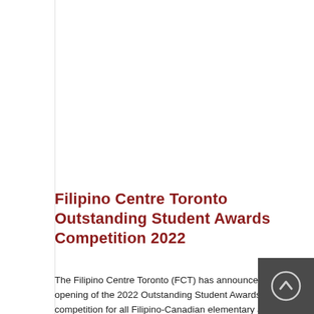Filipino Centre Toronto Outstanding Student Awards Competition 2022
The Filipino Centre Toronto (FCT) has announced the opening of the 2022 Outstanding Student Awards competition for all Filipino-Canadian elementary and secondary school graduates of Filipino